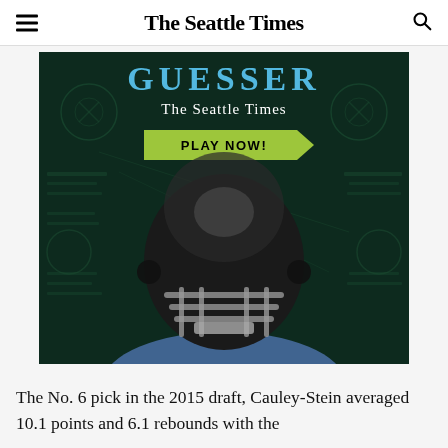The Seattle Times
[Figure (photo): Seattle Times advertisement featuring a football player in a dark helmet facing forward, with the text 'GUESSER', 'The Seattle Times', and a green 'PLAY NOW!' button on a dark background with football play diagrams.]
The No. 6 pick in the 2015 draft, Cauley-Stein averaged 10.1 points and 6.1 rebounds with the